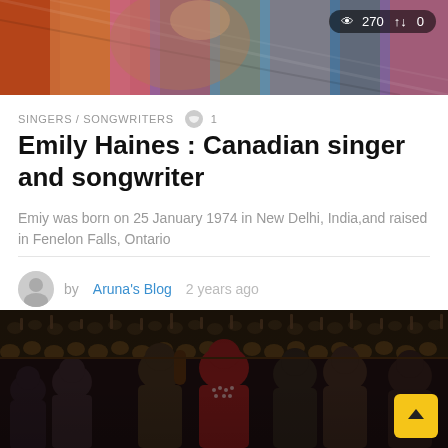[Figure (photo): Colorful textile or clothing detail photo at top of article, with view count overlay showing 270 views and 0 shares]
SINGERS / SONGWRITERS   1
Emily Haines : Canadian singer and songwriter
Emiy was born on 25 January 1974 in New Delhi, India,and raised in Fenelon Falls, Ontario
by Aruna's Blog 2 years ago
[Figure (photo): Concert photo showing performers on stage with large crowd in background, multiple performers visible in foreground with audience raising hands]